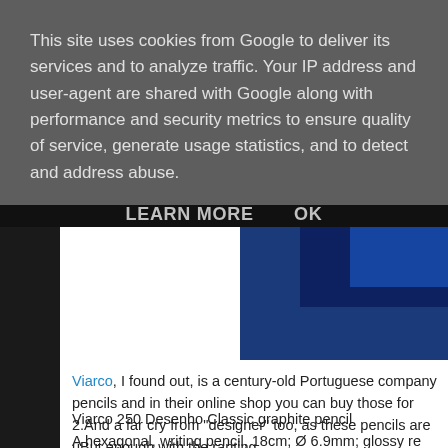This site uses cookies from Google to deliver its services and to analyze traffic. Your IP address and user-agent are shared with Google along with performance and security metrics to ensure quality of service, generate usage statistics, and to detect and address abuse.
LEARN MORE
OK
[Figure (screenshot): Partial screenshot of a webpage showing a white area on the left and a dark navy/blue image on the right, with a black strip at the top]
Viarco, I found out, is a century-old Portuguese company... pencils and in their online shop you can buy those for 2.4... And a far cry from "designer" too, as these pencils are u... But enough with the ranting.
Viarco 250 Desenho Classic graphite pencil
A hexagonal, writing pencil, 18cm; Ø 6.9mm; glossy re...